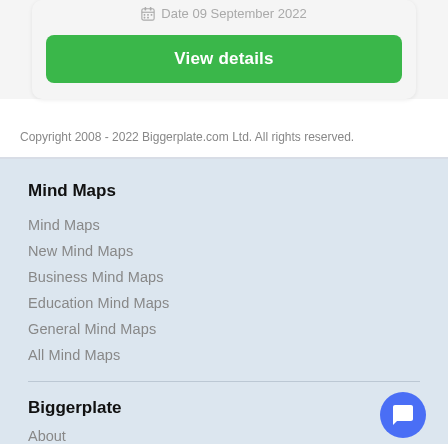[Figure (screenshot): Top card with date 'Date 09 September 2022' and a green 'View details' button]
Copyright 2008 - 2022 Biggerplate.com Ltd. All rights reserved.
Mind Maps
Mind Maps
New Mind Maps
Business Mind Maps
Education Mind Maps
General Mind Maps
All Mind Maps
Biggerplate
About